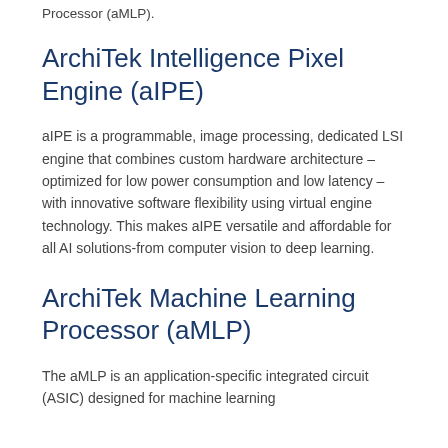Processor (aMLP).
ArchiTek Intelligence Pixel Engine (aIPE)
aIPE is a programmable, image processing, dedicated LSI engine that combines custom hardware architecture – optimized for low power consumption and low latency – with innovative software flexibility using virtual engine technology. This makes aIPE versatile and affordable for all AI solutions-from computer vision to deep learning.
ArchiTek Machine Learning Processor (aMLP)
The aMLP is an application-specific integrated circuit (ASIC) designed for machine learning